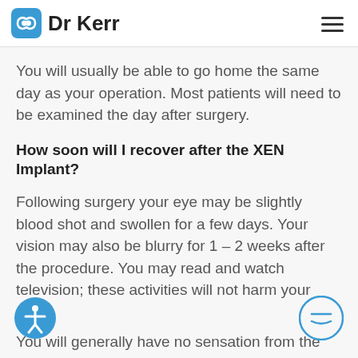Dr Kerr
You will usually be able to go home the same day as your operation. Most patients will need to be examined the day after surgery.
How soon will I recover after the XEN Implant?
Following surgery your eye may be slightly blood shot and swollen for a few days. Your vision may also be blurry for 1 – 2 weeks after the procedure. You may read and watch television; these activities will not harm your eye.
You will generally have no sensation from the